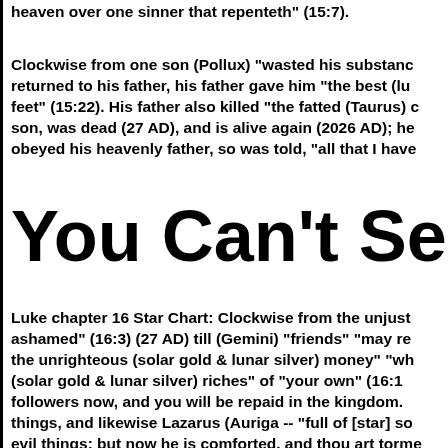heaven over one sinner that repenteth" (15:7).
Clockwise from one son (Pollux) "wasted his substance" returned to his father, his father gave him "the best (lu feet" (15:22). His father also killed "the fatted (Taurus) c son, was dead (27 AD), and is alive again (2026 AD); he obeyed his heavenly father, so was told, "all that I have
You Can't Ser
Luke chapter 16 Star Chart: Clockwise from the unjust ashamed" (16:3) (27 AD) till (Gemini) "friends" "may re the unrighteous (solar gold & lunar silver) money" "wh (solar gold & lunar silver) riches" of "your own" (16:1 followers now, and you will be repaid in the kingdom. things, and likewise Lazarus (Auriga -- "full of [star] so evil things; but now he is comforted, and thou art torme